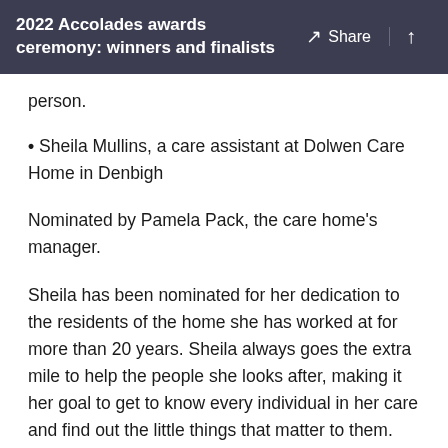2022 Accolades awards ceremony: winners and finalists
person.
Sheila Mullins, a care assistant at Dolwen Care Home in Denbigh
Nominated by Pamela Pack, the care home's manager.
Sheila has been nominated for her dedication to the residents of the home she has worked at for more than 20 years. Sheila always goes the extra mile to help the people she looks after, making it her goal to get to know every individual in her care and find out the little things that matter to them.